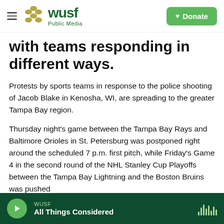WUSF Public Media | Donate
with teams responding in different ways.
Protests by sports teams in response to the police shooting of Jacob Blake in Kenosha, WI, are spreading to the greater Tampa Bay region.
Thursday night's game between the Tampa Bay Rays and Baltimore Orioles in St. Petersburg was postponed right around the scheduled 7 p.m. first pitch, while Friday's Game 4 in the second round of the NHL Stanley Cup Playoffs between the Tampa Bay Lightning and the Boston Bruins was pushed
WUSF — All Things Considered